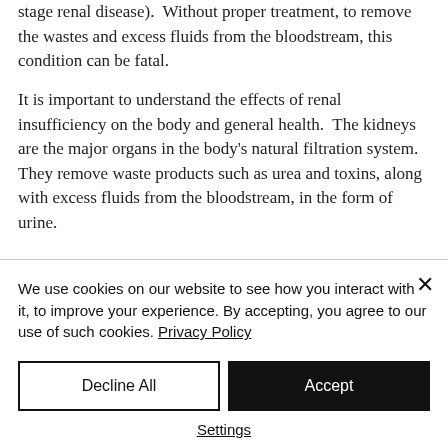stage renal disease). Without proper treatment, to remove the wastes and excess fluids from the bloodstream, this condition can be fatal.
It is important to understand the effects of renal insufficiency on the body and general health. The kidneys are the major organs in the body's natural filtration system. They remove waste products such as urea and toxins, along with excess fluids from the bloodstream, in the form of urine.
We use cookies on our website to see how you interact with it, to improve your experience. By accepting, you agree to our use of such cookies. Privacy Policy
Decline All
Accept
Settings